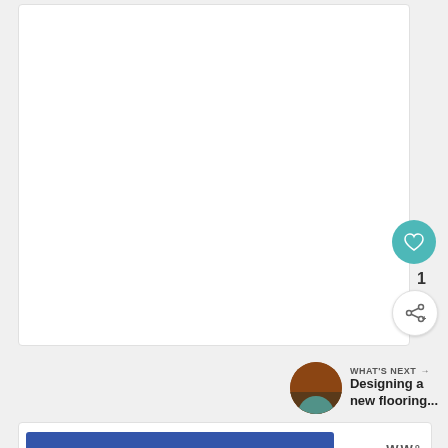[Figure (screenshot): White card/content area placeholder]
[Figure (infographic): Teal circular like button with heart icon]
1
[Figure (infographic): Share button with share/add icon]
WHAT'S NEXT → Designing a new flooring...
[Figure (screenshot): "You seem down lately." blue banner ad with W° logo]